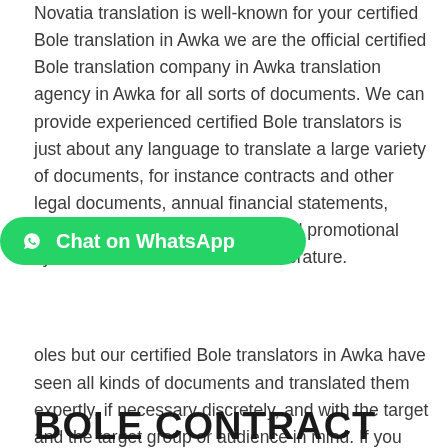Novatia translation is well-known for your certified Bole translation in Awka we are the official certified Bole translation company in Awka translation agency in Awka for all sorts of documents. We can provide experienced certified Bole translators is just about any language to translate a large variety of documents, for instance contracts and other legal documents, annual financial statements, technical manuals, advertising and promotional flyers and brochures and even literature. [Chat on WhatsApp] ...oles but our certified Bole translators in Awka have seen all kinds of documents and translated them expertly, if necessary discretely, and with the target and the target group or audience in mind. If you want more information about the translation of a certain document,
[Figure (other): Green WhatsApp chat button with WhatsApp logo icon and text 'Chat on WhatsApp']
BOLE CONTRACT